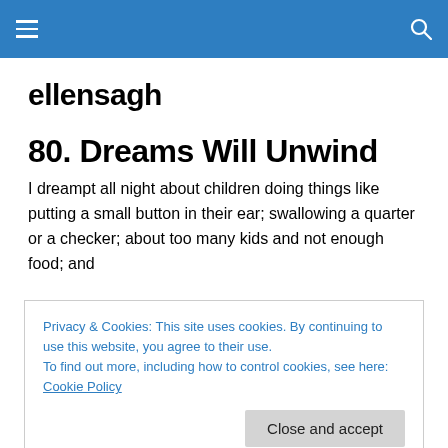ellensagh
80. Dreams Will Unwind
I dreampt all night about children doing things like putting a small button in their ear; swallowing a quarter or a checker; about too many kids and not enough food; and
Privacy & Cookies: This site uses cookies. By continuing to use this website, you agree to their use.
To find out more, including how to control cookies, see here: Cookie Policy
this morning: I looked at a picture of an abstract